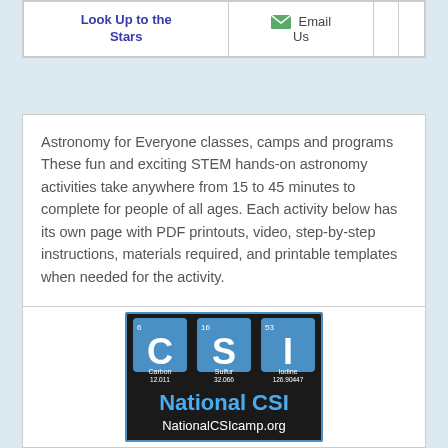| Look Up to the Stars | Email Us |  |  |
Astronomy for Everyone classes, camps and programs These fun and exciting STEM hands-on astronomy activities take anywhere from 15 to 45 minutes to complete for people of all ages. Each activity below has its own page with PDF printouts, video, step-by-step instructions, materials required, and printable templates when needed for the activity.
[Figure (logo): National CSI logo — periodic table style tiles showing C (Carbon 12.011), S (Sulfur 32.066), I (Iodine 126.90447) on dark background with text 'National CSI' and 'NationalCSIcamp.org']